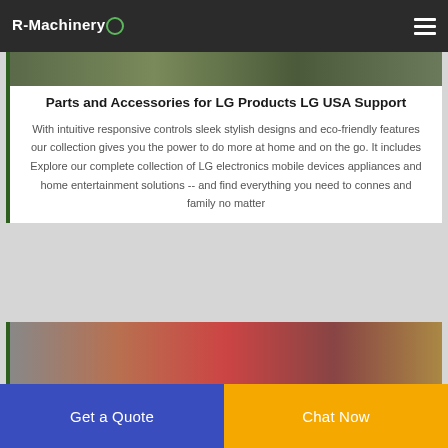R-Machinery
[Figure (photo): Partial photo of a person outdoors with green background]
Parts and Accessories for LG Products LG USA Support
With intuitive responsive controls sleek stylish designs and eco-friendly features our collection gives you the power to do more at home and on the go. It includes Explore our complete collection of LG electronics mobile devices appliances and home entertainment solutions -- and find everything you need to connes and family no matter
[Figure (photo): Partial photo showing interior scene with red and brown tones]
Get a Quote  Chat Now